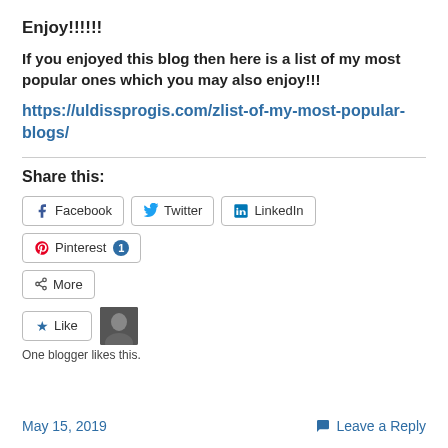Enjoy!!!!!!
If you enjoyed this blog then here is a list of my most popular ones which you may also enjoy!!!
https://uldissprogis.com/zlist-of-my-most-popular-blogs/
Share this:
[Figure (infographic): Social share buttons: Facebook, Twitter, LinkedIn, Pinterest (with badge 1), More, Like button with avatar and text 'One blogger likes this.']
May 15, 2019   Leave a Reply